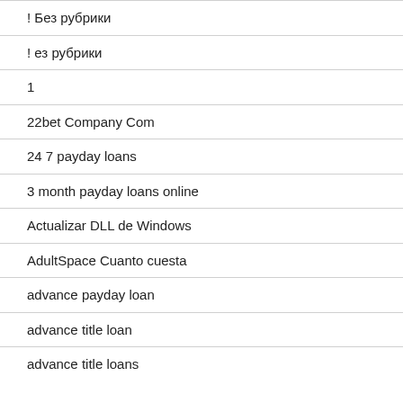! Без рубрики
! ез рубрики
1
22bet Company Com
24 7 payday loans
3 month payday loans online
Actualizar DLL de Windows
AdultSpace Cuanto cuesta
advance payday loan
advance title loan
advance title loans